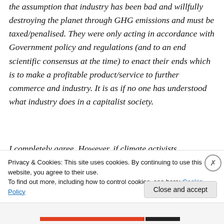the assumption that industry has been bad and willfully destroying the planet through GHG emissions and must be taxed/penalised. They were only acting in accordance with Government policy and regulations (and to an end scientific consensus at the time) to enact their ends which is to make a profitable product/service to further commerce and industry. It is as if no one has understood what industry does in a capitalist society.
I completely agree. However, if climate activists
Privacy & Cookies: This site uses cookies. By continuing to use this website, you agree to their use.
To find out more, including how to control cookies, see here: Cookie Policy